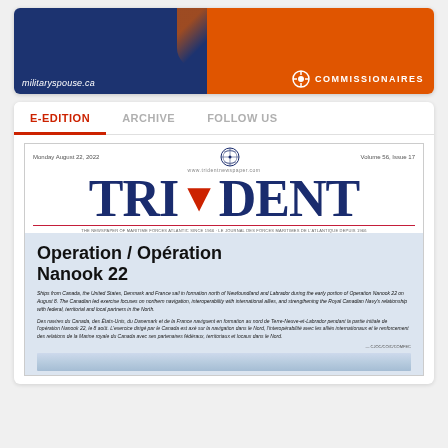[Figure (advertisement): Commissionaires advertisement showing militaryspouse.ca URL on a blue/orange background with Commissionaires logo]
E-EDITION | ARCHIVE | FOLLOW US
[Figure (screenshot): Trident newspaper front page thumbnail showing Volume 56, Issue 17, Monday August 22, 2022, with headline Operation / Opération Nanook 22 and bilingual body text about ships from Canada, the United States, Denmark and France in formation north of Newfoundland and Labrador during Operation Nanook 22.]
Operation / Opération Nanook 22
Ships from Canada, the United States, Denmark and France sail in formation north of Newfoundland and Labrador during the early portion of Operation Nanook 22 on August 8. The Canadian led exercise focuses on northern navigation, interoperability with international allies, and strengthening the Royal Canadian Navy's relationship with federal, territorial and local partners in the North. Des navires du Canada, des États-Unis, du Danemark et de la France naviguent en formation au nord de Terre-Neuve-et-Labrador pendant la partie initiale de l'opération Nanook 22, le 8 août. L'exercice dirigé par le Canada est axé sur la navigation dans le Nord, l'interopérabilité avec les alliés internationaux et le renforcement des relations de la Marine royale du Canada avec ses partenaires fédéraux, territoriaux et locaux dans le Nord.